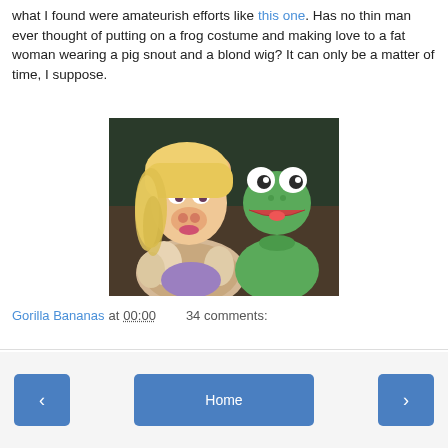what I found were amateurish efforts like this one. Has no thin man ever thought of putting on a frog costume and making love to a fat woman wearing a pig snout and a blond wig? It can only be a matter of time, I suppose.
[Figure (photo): Photo of Miss Piggy and Kermit the Frog Muppet characters facing each other]
Gorilla Bananas at 00:00    34 comments:
Share
< Home >